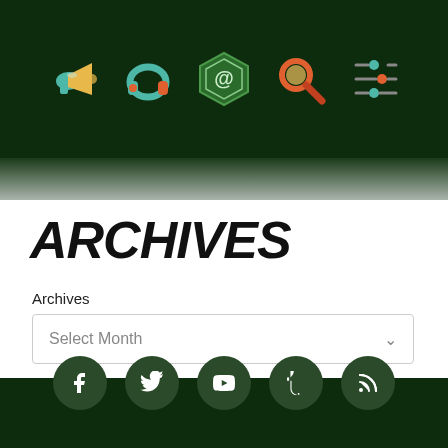Navigation header with icons: megaphone, headphones, hexagon logo, magnifying glass, settings/filter
ARCHIVES
Archives
Select Month
Social media icons: Facebook, Twitter, YouTube, Tumblr, RSS